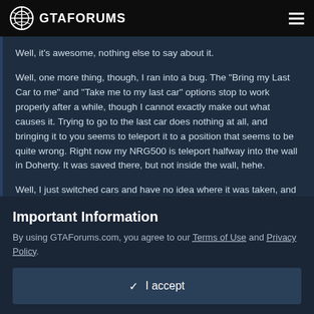GTAFORUMS
Well, it's awesome, nothing else to say about it.
Well, one more thing, though, I ran into a bug. The "Bring my Last Car to me" and "Take me to my last car" options stop to work properly after a while, though I cannot exactly make out what causes it. Trying to go to the last car does nothing at all, and bringing it to you seems to teleport it to a position that seems to be quite wrong. Right now my NRG500 is teleport halfway into the wall in Doherty. It was saved there, but not inside the wall, hehe.
Well, I just switched cars and have no idea where it was taken, and it was...
Important Information
By using GTAForums.com, you agree to our Terms of Use and Privacy Policy.